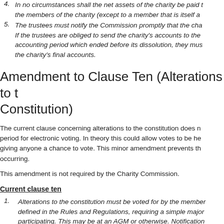4. In no circumstances shall the net assets of the charity be paid to the members of the charity (except to a member that is itself a…
5. The trustees must notify the Commission promptly that the cha… If the trustees are obliged to send the charity's accounts to the accounting period which ended before its dissolution, they mus… the charity's final accounts.
Amendment to Clause Ten (Alterations to the Constitution)
The current clause concerning alterations to the constitution does n… period for electronic voting. In theory this could allow votes to be he… giving anyone a chance to vote. This minor amendment prevents th… occurring.
This amendment is not required by the Charity Commission.
Current clause ten
1. Alterations to the constitution must be voted for by the member… defined in the Rules and Regulations, requiring a simple major… participating. This may be at an AGM or otherwise. Notification…